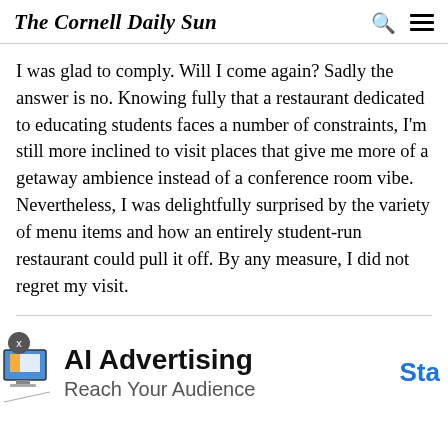The Cornell Daily Sun
I was glad to comply. Will I come again? Sadly the answer is no. Knowing fully that a restaurant dedicated to educating students faces a number of constraints, I'm still more inclined to visit places that give me more of a getaway ambience instead of a conference room vibe. Nevertheless, I was delightfully surprised by the variety of menu items and how an entirely student-run restaurant could pull it off. By any measure, I did not regret my visit.
[Figure (infographic): Advertisement banner: AI Advertising — Reach Your Audience, with a Start button on the right and a small device illustration on the left.]